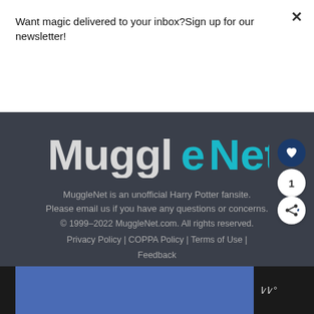Want magic delivered to your inbox?Sign up for our newsletter!
Subscribe
[Figure (logo): MuggleNet logo with white 'Muggle' text and teal 'Net' text, lightning bolt accent]
MuggleNet is an unofficial Harry Potter fansite. Please email us if you have any questions or concerns.
© 1999–2022 MuggleNet.com. All rights reserved.
Privacy Policy | COPPA Policy | Terms of Use | Feedback